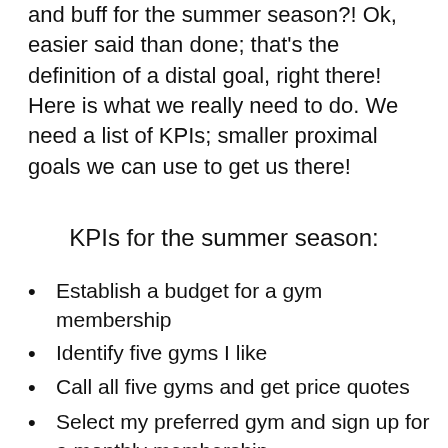and buff for the summer season?! Ok, easier said than done; that's the definition of a distal goal, right there! Here is what we really need to do. We need a list of KPIs; smaller proximal goals we can use to get us there!
KPIs for the summer season:
Establish a budget for a gym membership
Identify five gyms I like
Call all five gyms and get price quotes
Select my preferred gym and sign up for a monthly membership
Set aside time to go to the gym